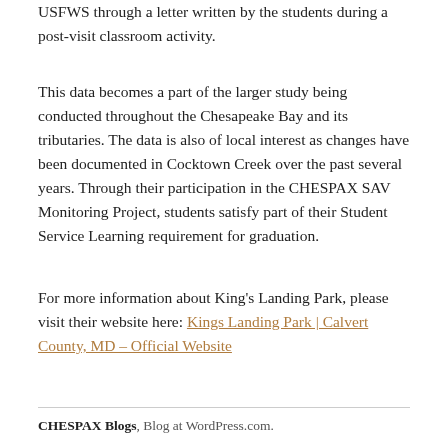USFWS through a letter written by the students during a post-visit classroom activity.
This data becomes a part of the larger study being conducted throughout the Chesapeake Bay and its tributaries. The data is also of local interest as changes have been documented in Cocktown Creek over the past several years. Through their participation in the CHESPAX SAV Monitoring Project, students satisfy part of their Student Service Learning requirement for graduation.
For more information about King's Landing Park, please visit their website here: Kings Landing Park | Calvert County, MD – Official Website
CHESPAX Blogs, Blog at WordPress.com.